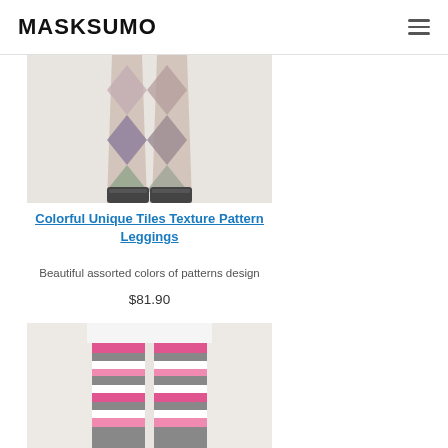MASKSUMO
[Figure (photo): Colorful unique tiles texture pattern leggings product photo showing legs wearing patterned leggings with argyle/diamond pattern in pink, purple, green colors with black sneakers]
Colorful Unique Tiles Texture Pattern Leggings
Beautiful assorted colors of patterns design
$81.90
[Figure (photo): Pink, white, and gray horizontal stripe pattern leggings product photo showing lower body wearing striped leggings]